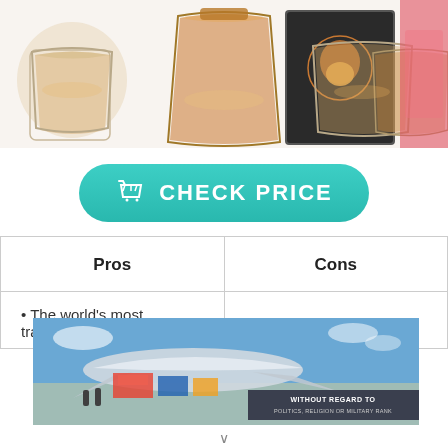[Figure (photo): Product photo of a whiskey decanter set with crystal glasses and a lion logo box, with amber liquid]
[Figure (other): Green rounded button with shopping basket icon and text CHECK PRICE]
| Pros | Cons |
| --- | --- |
| • The world's most transparent glasses |  |
[Figure (photo): Advertisement banner showing cargo airplane being loaded with text WITHOUT REGARD TO POLITICS, RELIGION OR MILITARY RANK]